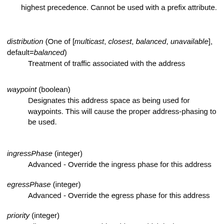highest precedence. Cannot be used with a prefix attribute.
distribution (One of [multicast, closest, balanced, unavailable], default=balanced)
    Treatment of traffic associated with the address
waypoint (boolean)
    Designates this address space as being used for waypoints. This will cause the proper address-phasing to be used.
ingressPhase (integer)
    Advanced - Override the ingress phase for this address
egressPhase (integer)
    Advanced - Override the egress phase for this address
priority (integer)
    All messages sent to this address which lack an